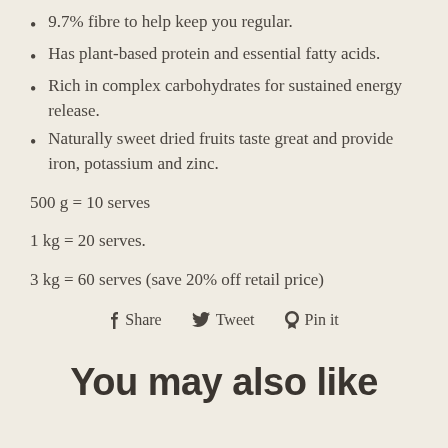9.7% fibre to help keep you regular.
Has plant-based protein and essential fatty acids.
Rich in complex carbohydrates for sustained energy release.
Naturally sweet dried fruits taste great and provide iron, potassium and zinc.
500 g = 10 serves
1 kg = 20 serves.
3 kg = 60 serves (save 20% off retail price)
Share   Tweet   Pin it
You may also like